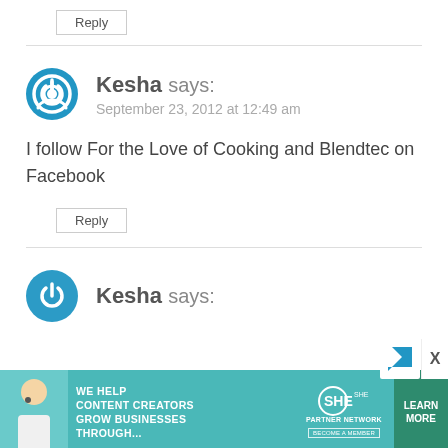Reply
Kesha says:
September 23, 2012 at 12:49 am
I follow For the Love of Cooking and Blendtec on Facebook
Reply
Kesha says:
[Figure (infographic): SHE Media ad banner: 'We help content creators grow businesses through...' with SHE Partner Network logo and Learn More button]